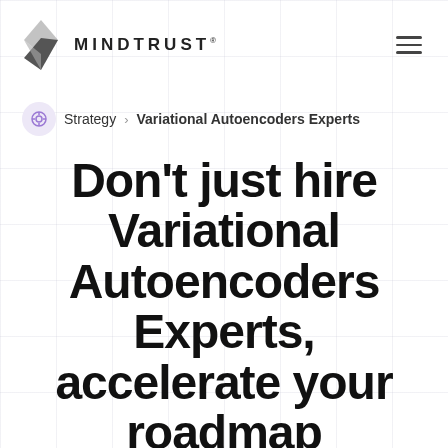MINDTRUST
Strategy > Variational Autoencoders Experts
Don't just hire Variational Autoencoders Experts, accelerate your roadmap
Plan it the data mart of Talent® and work with